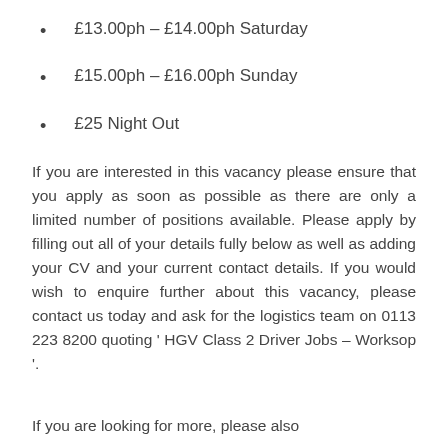£13.00ph – £14.00ph Saturday
£15.00ph – £16.00ph Sunday
£25 Night Out
If you are interested in this vacancy please ensure that you apply as soon as possible as there are only a limited number of positions available. Please apply by filling out all of your details fully below as well as adding your CV and your current contact details. If you would wish to enquire further about this vacancy, please contact us today and ask for the logistics team on 0113 223 8200 quoting ' HGV Class 2 Driver Jobs – Worksop '.
If you are looking for more, please also...